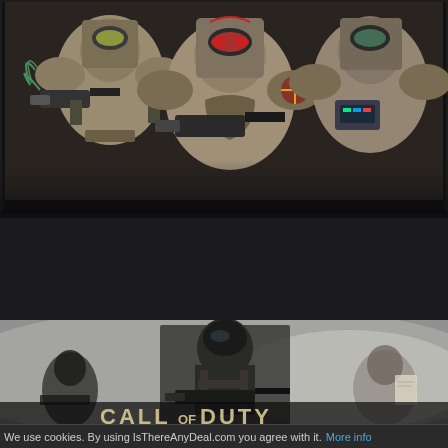[Figure (photo): Screenshot of armored space marine characters from a video game (Warhammer 40K style), holding weapons, wearing tan/olive heavy armor with various insignia, dark background]
[Figure (photo): Call of Duty game promotional image showing soldiers in military gear in a grey/foggy environment, with 'CALL OF DUTY' text visible at bottom]
We use cookies. By using IsThereAnyDeal.com you agree with it. More info